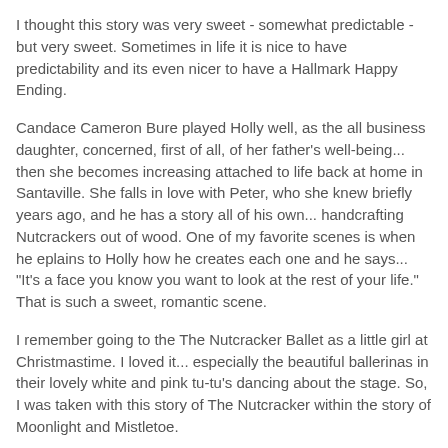I thought this story was very sweet - somewhat predictable - but very sweet. Sometimes in life it is nice to have predictability and its even nicer to have a Hallmark Happy Ending.
Candace Cameron Bure played Holly well, as the all business daughter, concerned, first of all, of her father's well-being... then she becomes increasing attached to life back at home in Santaville. She falls in love with Peter, who she knew briefly years ago, and he has a story all of his own... handcrafting Nutcrackers out of wood. One of my favorite scenes is when he eplains to Holly how he creates each one and he says... "It's a face you know you want to look at the rest of your life." That is such a sweet, romantic scene.
I remember going to the The Nutcracker Ballet as a little girl at Christmastime. I loved it... especially the beautiful ballerinas in their lovely white and pink tu-tu's dancing about the stage. So, I was taken with this story of The Nutcracker within the story of Moonlight and Mistletoe.
This was one of my favorites among all the TV Christmas...